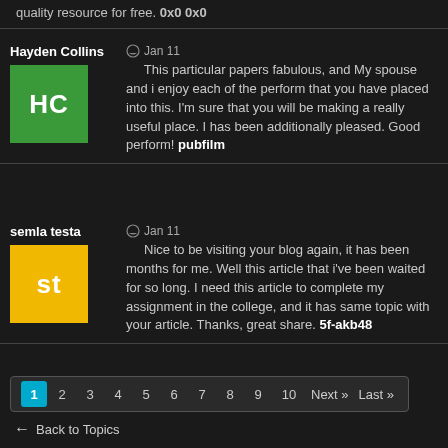quality resource for free. 0x0 0x0
Hayden Collins
[Figure (other): Green avatar box with letters HC]
Jan 11 – This particular papers fabulous, and My spouse and i enjoy each of the perform that you have placed into this. I'm sure that you will be making a really useful place. I has been additionally pleased. Good perform! pubfilm
semla testa
[Figure (other): Yellow avatar box with letters st]
Jan 11 – Nice to be visiting your blog again, it has been months for me. Well this article that i've been waited for so long. I need this article to complete my assignment in the college, and it has same topic with your article. Thanks, great share. 5f-akb48
1 2 3 4 5 6 7 8 9 10 Next» Last»
← Back to Topics